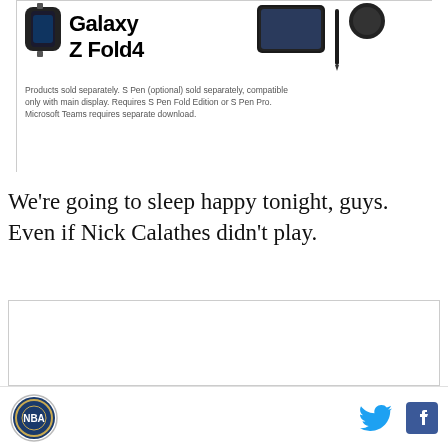[Figure (screenshot): Samsung Galaxy Z Fold4 advertisement showing product title and fine print disclaimer text about S Pen and Microsoft Teams.]
We're going to sleep happy tonight, guys. Even if Nick Calathes didn't play.
[Figure (other): Embedded content box, blank/placeholder area.]
Logo icon and social sharing icons (Twitter and Facebook)